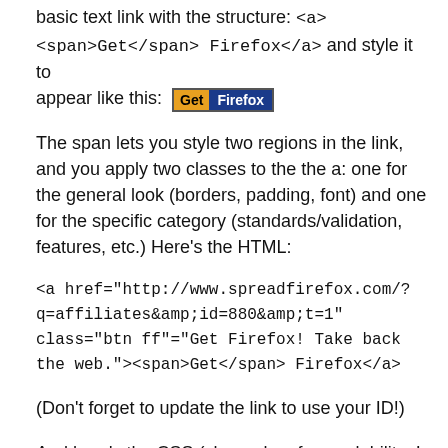basic text link with the structure: <a> <span>Get</span> Firefox</a> and style it to appear like this: [Get Firefox button]
The span lets you style two regions in the link, and you apply two classes to the the a: one for the general look (borders, padding, font) and one for the specific category (standards/validation, features, etc.) Here's the HTML:
<a href="http://www.spreadfirefox.com/?q=affiliates&amp;id=880&amp;t=1" class="btn ff"="Get Firefox! Take back the web."><span>Get</span> Firefox</a>
(Don't forget to update the link to use your ID!)
And here's the CSS (cleaned up for readability; I